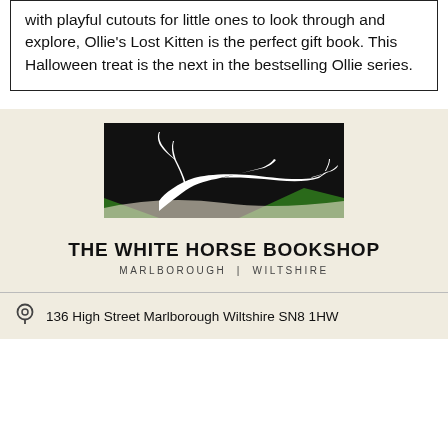with playful cutouts for little ones to look through and explore, Ollie's Lost Kitten is the perfect gift book. This Halloween treat is the next in the bestselling Ollie series.
[Figure (logo): The White Horse Bookshop logo: black rectangle with white horse silhouette and green hills at bottom]
THE WHITE HORSE BOOKSHOP
MARLBOROUGH | WILTSHIRE
136 High Street Marlborough Wiltshire SN8 1HW